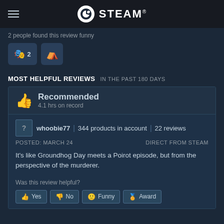STEAM
2 people found this review funny
MOST HELPFUL REVIEWS IN THE PAST 180 DAYS
Recommended
4.1 hrs on record
whoobie77 | 344 products in account | 22 reviews
POSTED: MARCH 24   DIRECT FROM STEAM
It's like Groundhog Day meets a Poirot episode, but from the perspective of the murderer.
Was this review helpful?